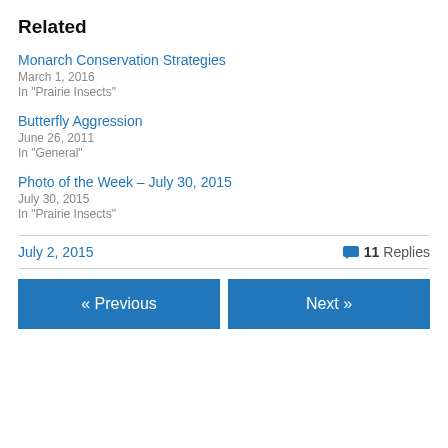Related
Monarch Conservation Strategies
March 1, 2016
In "Prairie Insects"
Butterfly Aggression
June 26, 2011
In "General"
Photo of the Week – July 30, 2015
July 30, 2015
In "Prairie Insects"
July 2, 2015
11 Replies
« Previous
Next »